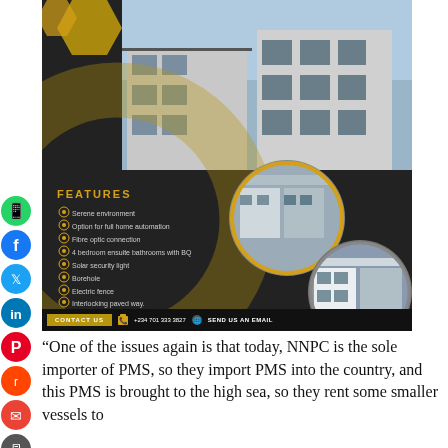[Figure (infographic): Real estate advertisement for properties at Durumi featuring property photos, features list, 'GET YOUR DREAM HOME' headline, contact details including +234 701 333 3827 and email. Dark background with gold accents.]
“One of the issues again is that today, NNPC is the sole importer of PMS, so they import PMS into the country, and this PMS is brought to the high sea, so they rent some smaller vessels to